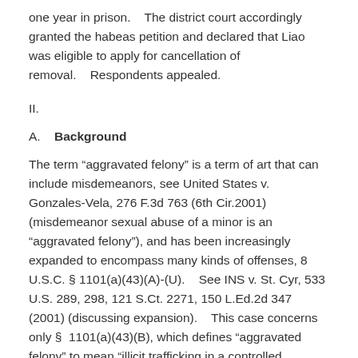one year in prison.    The district court accordingly granted the habeas petition and declared that Liao was eligible to apply for cancellation of removal.    Respondents appealed.
II.
A.    Background
The term “aggravated felony” is a term of art that can include misdemeanors, see United States v. Gonzales-Vela, 276 F.3d 763 (6th Cir.2001) (misdemeanor sexual abuse of a minor is an “aggravated felony”), and has been increasingly expanded to encompass many kinds of offenses, 8 U.S.C. § 1101(a)(43)(A)-(U).    See INS v. St. Cyr, 533 U.S. 289, 298, 121 S.Ct. 2271, 150 L.Ed.2d 347 (2001) (discussing expansion).    This case concerns only §  1101(a)(43)(B), which defines “aggravated felony” to mean “illicit trafficking in a controlled substance (as defined in section 802 of Title 21), including a drug trafficking crime (as defined in section